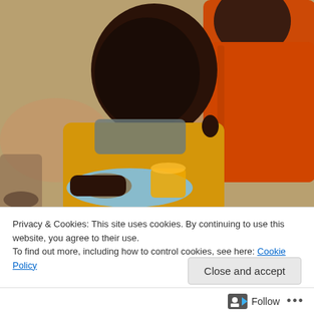[Figure (photo): Two African children, one in a yellow hoodie looking down at a blue plate with food and an orange juice cup, and another child in an orange jacket behind them. Outdoor scene with blurred background.]
Privacy & Cookies: This site uses cookies. By continuing to use this website, you agree to their use.
To find out more, including how to control cookies, see here: Cookie Policy
Close and accept
Follow